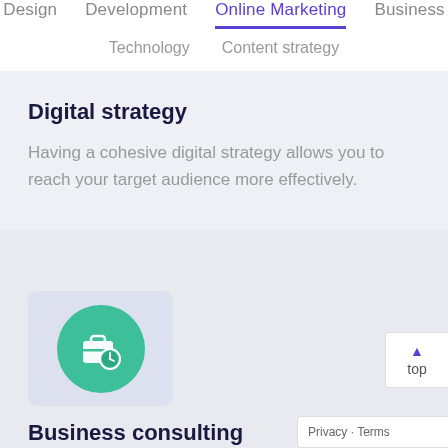Design  Development  Online Marketing  Business  Technology  Content strategy
Digital strategy
Having a cohesive digital strategy allows you to reach your target audience more effectively.
[Figure (illustration): Green circle icon with a briefcase and clock symbol]
Business consulting
We work directly with business owners on ...